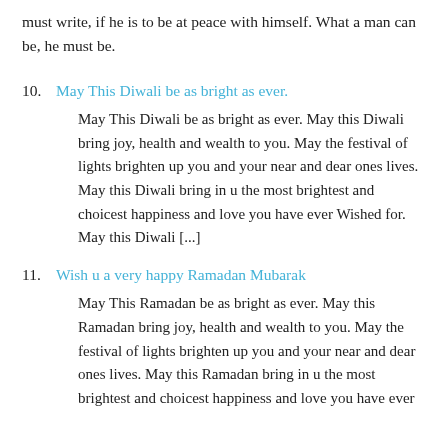must write, if he is to be at peace with himself. What a man can be, he must be.
10. May This Diwali be as bright as ever.
May This Diwali be as bright as ever. May this Diwali bring joy, health and wealth to you. May the festival of lights brighten up you and your near and dear ones lives. May this Diwali bring in u the most brightest and choicest happiness and love you have ever Wished for. May this Diwali [...]
11. Wish u a very happy Ramadan Mubarak
May This Ramadan be as bright as ever. May this Ramadan bring joy, health and wealth to you. May the festival of lights brighten up you and your near and dear ones lives. May this Ramadan bring in u the most brightest and choicest happiness and love you have ever